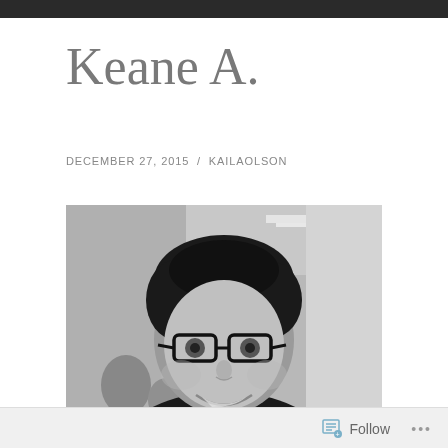Keane A.
DECEMBER 27, 2015 / KAILAOLSON
[Figure (photo): Black and white photograph of a young man with dark curly hair, wearing thick-rimmed glasses, smiling, in what appears to be an indoor public space with fluorescent lighting visible in the background.]
Follow ...